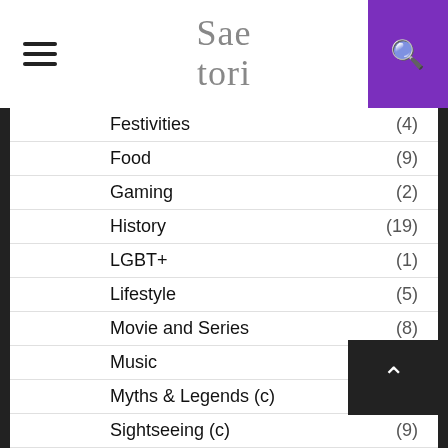Saetori
Festivities (4)
Food (9)
Gaming (2)
History (19)
LGBT+ (1)
Lifestyle (5)
Movie and Series (8)
Music (13)
Myths & Legends (c) (6)
Sightseeing (c) (9)
Hong Kong (1)
Movies
Movies and Series (1)
Interviews (15)